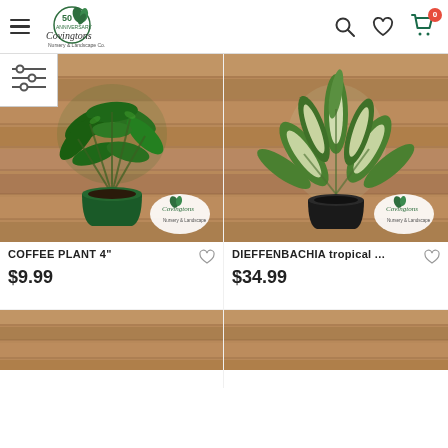Covingtons Nursery & Landscape Co. — Navigation with search, wishlist, and cart (0 items)
[Figure (screenshot): Filter/sort icon with horizontal slider lines]
[Figure (photo): Coffee plant in green pot against wood plank background, with Covingtons logo watermark]
COFFEE PLANT 4"
$9.99
[Figure (photo): Dieffenbachia tropical plant in black pot against wood plank background, with Covingtons logo watermark]
DIEFFENBACHIA tropical ...
$34.99
[Figure (photo): Partial view of another plant product (bottom left), cropped]
[Figure (photo): Partial view of another plant product (bottom right), cropped]